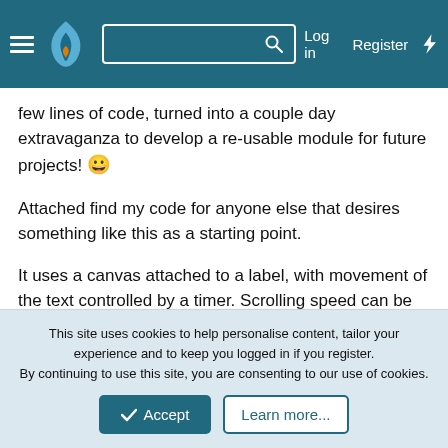GitLab navigation bar with hamburger menu, flame logo, search box, Log in, Register, and lightning icon
few lines of code, turned into a couple day extravaganza to develop a re-usable module for future projects! 😀
Attached find my code for anyone else that desires something like this as a starting point.
It uses a canvas attached to a label, with movement of the text controlled by a timer. Scrolling speed can be controlled by timer_tick ms and by setting the number of pixels that text moves each tick.
Ability to add and subtract messages into the queue is demonstrated with this demo.
This site uses cookies to help personalise content, tailor your experience and to keep you logged in if you register.
By continuing to use this site, you are consenting to our use of cookies.